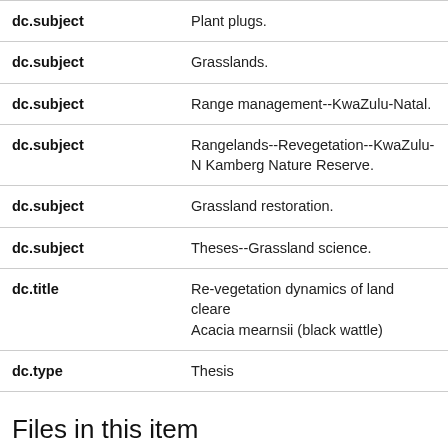| Field | Value |
| --- | --- |
| dc.subject | Plant plugs. |
| dc.subject | Grasslands. |
| dc.subject | Range management--KwaZulu-Natal. |
| dc.subject | Rangelands--Revegetation--KwaZulu-N Kamberg Nature Reserve. |
| dc.subject | Grassland restoration. |
| dc.subject | Theses--Grassland science. |
| dc.title | Re-vegetation dynamics of land cleared Acacia mearnsii (black wattle) |
| dc.type | Thesis |
Files in this item
Name: